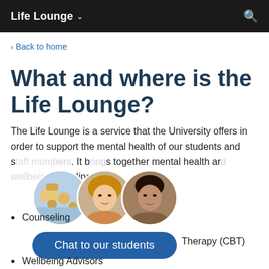Life Lounge ∨
‹ Back to home
What and where is the Life Lounge?
The Life Lounge is a service that the University offers in order to support the mental health of our students and staff members. It brings together mental health and wellbeing resources including:
[Figure (photo): Three overlapping circular profile photos: food/cafe scene, woman with blonde hair, man with dark hair]
Counseling
Cognitive Behavioral Therapy (CBT)
Wellbeing Advisors
Chat to our students